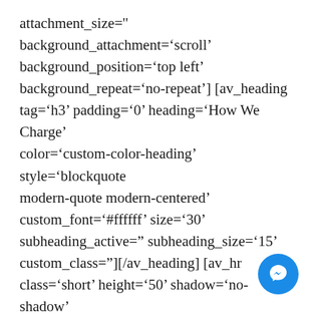attachment_size='' background_attachment='scroll' background_position='top left' background_repeat='no-repeat'] [av_heading tag='h3' padding='0' heading='How We Charge' color='custom-color-heading' style='blockquote modern-quote modern-centered' custom_font='#ffffff' size='30' subheading_active='' subheading_size='15' custom_class=''][/av_heading] [av_hr class='short' height='50' shadow='no-shadow' position='center' custom_border='av-border-thin' custom_width='50px' custom_border_color='' custom_margin_top='30px'